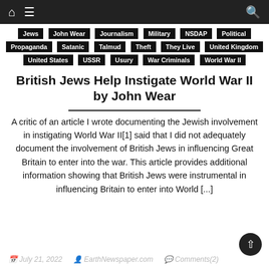Navigation bar with home, menu, and search icons
Jews
John Wear
Journalism
Military
NSDAP
Political
Propaganda
Satanic
Talmud
Theft
They Live
United Kingdom
United States
USSR
Usury
War Criminals
World War II
British Jews Help Instigate World War II by John Wear
A critic of an article I wrote documenting the Jewish involvement in instigating World War II[1] said that I did not adequately document the involvement of British Jews in influencing Great Britain to enter into the war. This article provides additional information showing that British Jews were instrumental in influencing Britain to enter into World [...]
July 21, 2022   EarthNewspaper.com   Comments(2)